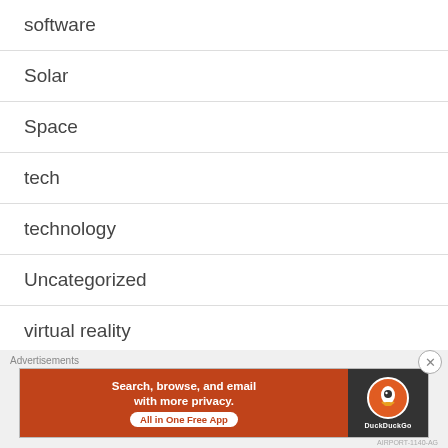software
Solar
Space
tech
technology
Uncategorized
virtual reality
Advertisements
[Figure (screenshot): DuckDuckGo advertisement banner: 'Search, browse, and email with more privacy. All in One Free App' on orange background with DuckDuckGo logo on dark background]